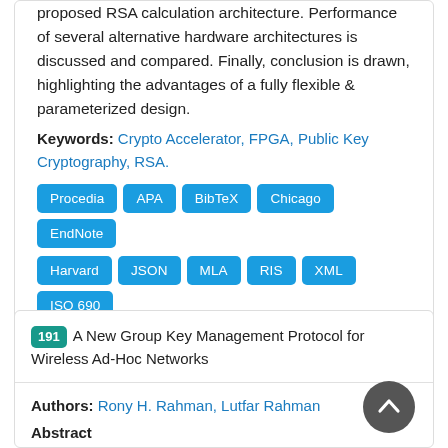proposed RSA calculation architecture. Performance of several alternative hardware architectures is discussed and compared. Finally, conclusion is drawn, highlighting the advantages of a fully flexible & parameterized design.
Keywords: Crypto Accelerator, FPGA, Public Key Cryptography, RSA.
Procedia
APA
BibTeX
Chicago
EndNote
Harvard
JSON
MLA
RIS
XML
ISO 690
PDF
Downloads 2578
191 A New Group Key Management Protocol for Wireless Ad-Hoc Networks
Authors: Rony H. Rahman, Lutfar Rahman
Abstract